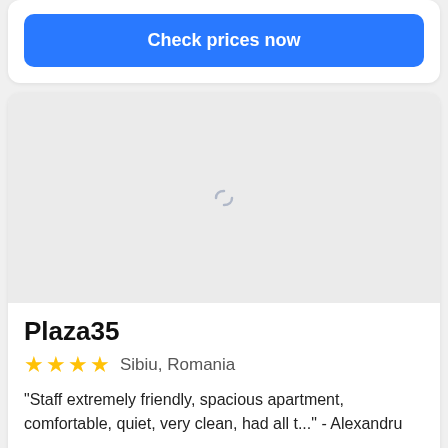Check prices now
[Figure (screenshot): Loading image placeholder with spinner icon]
Plaza35
★★★★ Sibiu, Romania
"Staff extremely friendly, spacious apartment, comfortable, quiet, very clean, had all t..." - Alexandru